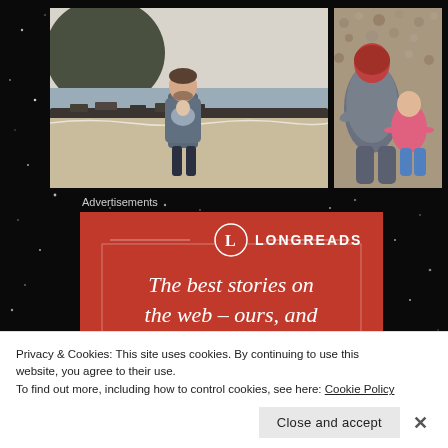[Figure (photo): Man holding a baby on a beach with rocky coastline, wearing a blue jacket]
[Figure (photo): Top-down view of a person in gray sweater with a child in pink on a pebble beach]
Advertisements
[Figure (logo): Longreads advertisement banner: red background with L logo, horizontal lines, and text 'The best stories on the web – ours, and']
Privacy & Cookies: This site uses cookies. By continuing to use this website, you agree to their use.
To find out more, including how to control cookies, see here: Cookie Policy
Close and accept